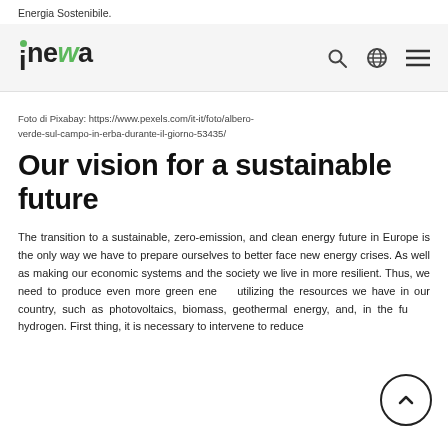Energia Sostenibile.
[Figure (logo): Inewa logo with green dot above the letter i and green W character, followed by navigation icons: search, globe, and hamburger menu]
Foto di Pixabay: https://www.pexels.com/it-it/foto/albero-verde-sul-campo-in-erba-durante-il-giorno-53435/
Our vision for a sustainable future
The transition to a sustainable, zero-emission, and clean energy future in Europe is the only way we have to prepare ourselves to better face new energy crises. As well as making our economic systems and the society we live in more resilient. Thus, we need to produce even more green energy utilizing the resources we have in our country, such as photovoltaics, biomass, geothermal energy, and, in the future, hydrogen. First thing, it is necessary to intervene to reduce